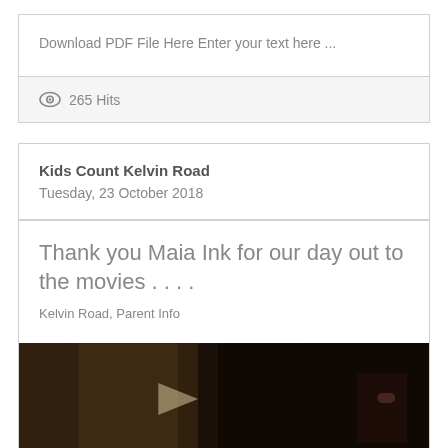Download PDF File Here Enter your text here ...
265 Hits
Kids Count Kelvin Road
Tuesday, 23 October 2018
Thank you Maia Ink for our day out to the movies . . . .
Kelvin Road, Parent Info
[Figure (photo): Dark cinema/movie scene photograph, mostly dark tones with slight warm highlights]